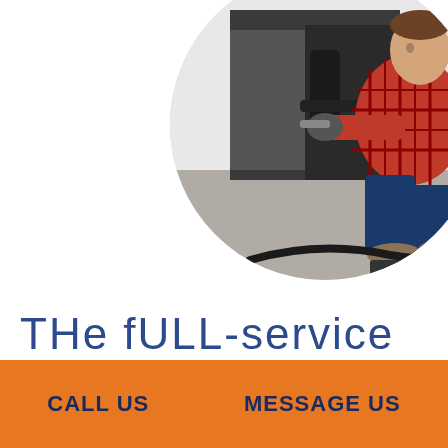[Figure (photo): A plumber or handyman in a red flannel shirt and dark jeans, crouching and working on pipes under a kitchen sink cabinet, wearing black gloves, viewed in a circular cropped photo.]
THe fULL-service
CALL US
MESSAGE US